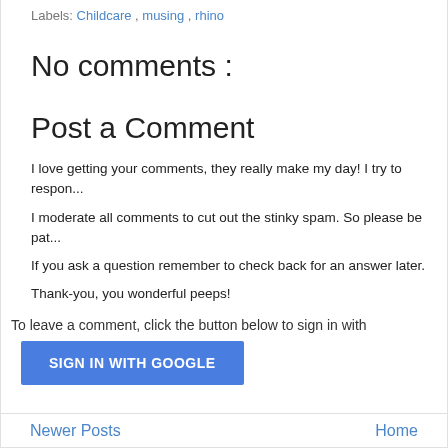Labels: Childcare , musing , rhino
No comments :
Post a Comment
I love getting your comments, they really make my day! I try to respon...
I moderate all comments to cut out the stinky spam. So please be pat...
If you ask a question remember to check back for an answer later.
Thank-you, you wonderful peeps!
To leave a comment, click the button below to sign in with
[Figure (screenshot): Blue SIGN IN WITH GOOGLE button]
Newer Posts     Home